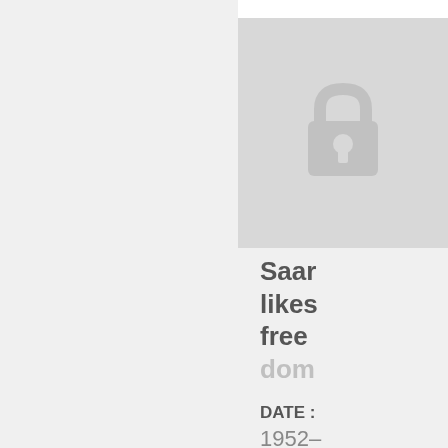[Figure (illustration): A grey padlock icon on a light grey background, representing restricted/locked content]
Saar likes freedom
DATE : 1952-09-20